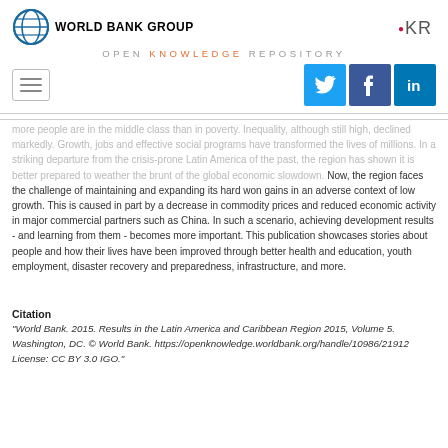WORLD BANK GROUP — OPEN KNOWLEDGE REPOSITORY
more people are in the middle class than in poverty. Inequality, although still high, declined markedly. Growth, jobs and effective social programs have transformed the lives of millions. In a striking departure from the crisis-prone Latin America of the past, the region has shown it is better prepared to weather the brunt of the global economic slowdown. Now, the region faces the challenge of maintaining and expanding its hard won gains in an adverse context of low growth. This is caused in part by a decrease in commodity prices and reduced economic activity in major commercial partners such as China. In such a scenario, achieving development results - and learning from them - becomes more important. This publication showcases stories about people and how their lives have been improved through better health and education, youth employment, disaster recovery and preparedness, infrastructure, and more.
Citation
"World Bank. 2015. Results in the Latin America and Caribbean Region 2015, Volume 5. Washington, DC. © World Bank. https://openknowledge.worldbank.org/handle/10986/21912 License: CC BY 3.0 IGO."